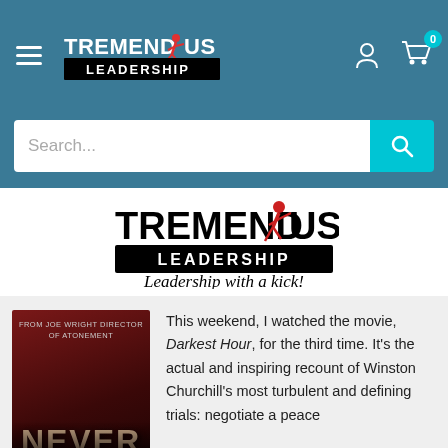[Figure (logo): Tremendous Leadership logo in navbar - white text on teal background]
[Figure (screenshot): Search bar with placeholder text 'Search...' and teal search button]
[Figure (logo): Tremendous Leadership large logo with tagline 'Leadership with a kick!']
[Figure (photo): Book cover image showing 'NEVER' text with dark red background]
This weekend, I watched the movie, Darkest Hour, for the third time. It's the actual and inspiring recount of Winston Churchill's most turbulent and defining trials: negotiate a peace